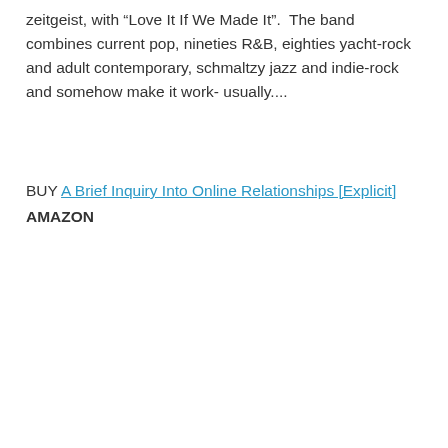zeitgeist, with “Love It If We Made It”.  The band combines current pop, nineties R&B, eighties yacht-rock and adult contemporary, schmaltzy jazz and indie-rock and somehow make it work- usually....
BUY A Brief Inquiry Into Online Relationships [Explicit] AMAZON